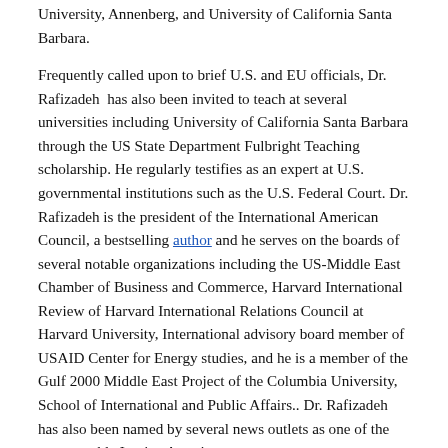University, Annenberg, and University of California Santa Barbara.
Frequently called upon to brief U.S. and EU officials, Dr. Rafizadeh has also been invited to teach at several universities including University of California Santa Barbara through the US State Department Fulbright Teaching scholarship. He regularly testifies as an expert at U.S. governmental institutions such as the U.S. Federal Court. Dr. Rafizadeh is the president of the International American Council, a bestselling author and he serves on the boards of several notable organizations including the US-Middle East Chamber of Business and Commerce, Harvard International Review of Harvard International Relations Council at Harvard University, International advisory board member of USAID Center for Energy studies, and he is a member of the Gulf 2000 Middle East Project of the Columbia University, School of International and Public Affairs.. Dr. Rafizadeh has also been named by several news outlets as one of the most notable Iranian Americans.